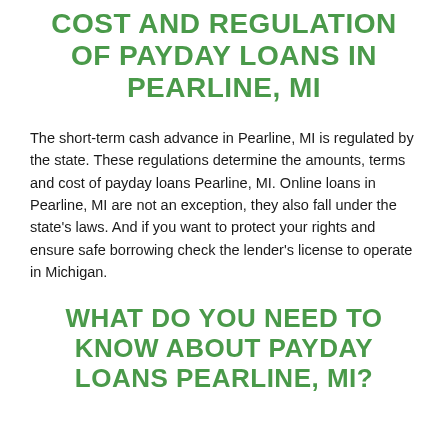COST AND REGULATION OF PAYDAY LOANS IN Pearline, MI
The short-term cash advance in Pearline, MI is regulated by the state. These regulations determine the amounts, terms and cost of payday loans Pearline, MI. Online loans in Pearline, MI are not an exception, they also fall under the state's laws. And if you want to protect your rights and ensure safe borrowing check the lender's license to operate in Michigan.
WHAT DO YOU NEED TO KNOW ABOUT PAYDAY LOANS Pearline, MI?